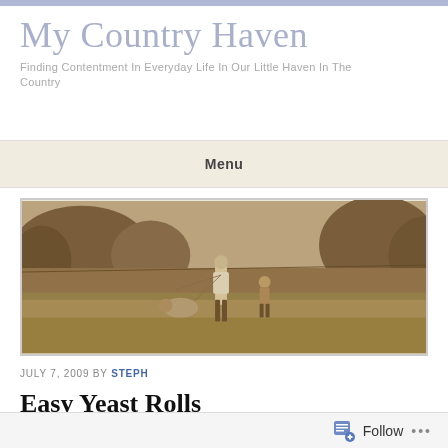My Country Haven
Finding Contentment In Everyday Life In Our Little Haven In The Country
Menu
[Figure (photo): Sepia-toned photograph of people flying a kite or playing in an open field with trees in the background. An adult and child are visible running or playing outdoors.]
JULY 7, 2009 BY STEPH
Easy Yeast Rolls
Follow ...